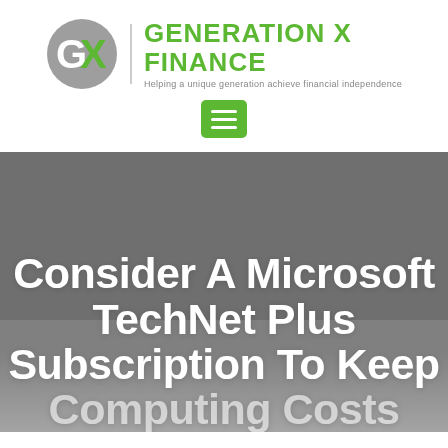[Figure (logo): Generation X Finance logo with GX monogram in grey and green, vertical divider, brand name 'GENERATION X FINANCE' in green, tagline 'Helping a unique generation achieve financial independence' in grey]
[Figure (screenshot): Green hamburger menu button (three horizontal white lines on green rounded rectangle background)]
Consider A Microsoft TechNet Plus Subscription To Keep Computing Costs Down